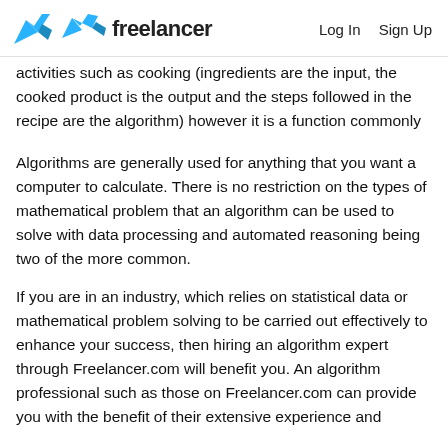freelancer   Log In   Sign Up
activities such as cooking (ingredients are the input, the cooked product is the output and the steps followed in the recipe are the algorithm) however it is a function commonly used in computer-based problem solving.
Algorithms are generally used for anything that you want a computer to calculate. There is no restriction on the types of mathematical problem that an algorithm can be used to solve with data processing and automated reasoning being two of the more common.
If you are in an industry, which relies on statistical data or mathematical problem solving to be carried out effectively to enhance your success, then hiring an algorithm expert through Freelancer.com will benefit you. An algorithm professional such as those on Freelancer.com can provide you with the benefit of their extensive experience and